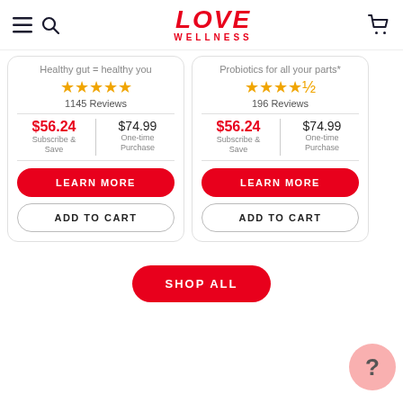[Figure (logo): Love Wellness logo with hamburger menu and search icon on left, cart icon on right]
Healthy gut = healthy you
Probiotics for all your parts*
★★★★★ 1145 Reviews
★★★★½ 196 Reviews
$56.24 Subscribe & Save | $74.99 One-time Purchase
$56.24 Subscribe & Save | $74.99 One-time Purchase
LEARN MORE
ADD TO CART
LEARN MORE
ADD TO CART
SHOP ALL